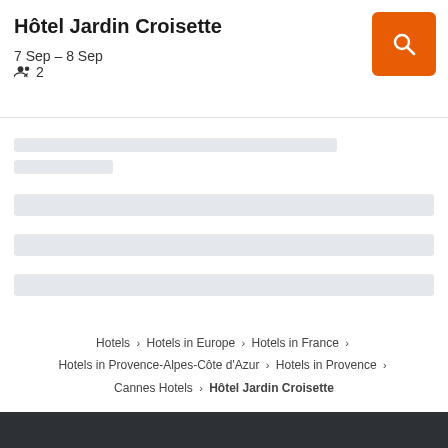Hôtel Jardin Croisette
7 Sep – 8 Sep   👥 2
[Figure (screenshot): Orange search button with white magnifying glass icon]
[Figure (other): Loading skeleton placeholder bars]
Hotels › Hotels in Europe › Hotels in France › Hotels in Provence-Alpes-Côte d'Azur › Hotels in Provence › Cannes Hotels › Hôtel Jardin Croisette